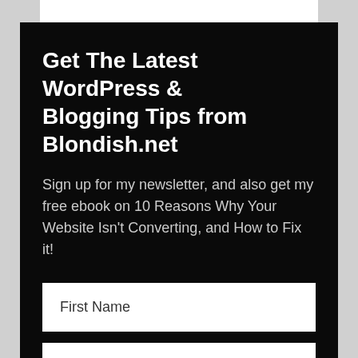Get The Latest WordPress & Blogging Tips from Blondish.net
Sign up for my newsletter, and also get my free ebook on 10 Reasons Why Your Website Isn't Converting, and How to Fix it!
First Name
Last Name
E-Mail Address